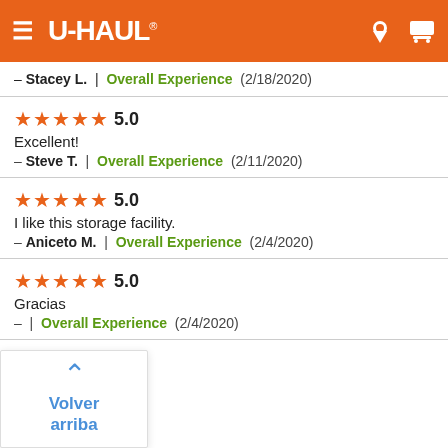U-HAUL
– Stacey L. | Overall Experience (2/18/2020)
★★★★★ 5.0
Excellent!
– Steve T. | Overall Experience (2/11/2020)
★★★★★ 5.0
I like this storage facility.
– Aniceto M. | Overall Experience (2/4/2020)
★★★★★ 5.0
Gracias
– . | Overall Experience (2/4/2020)
Volver arriba
★★★★★ 5.0